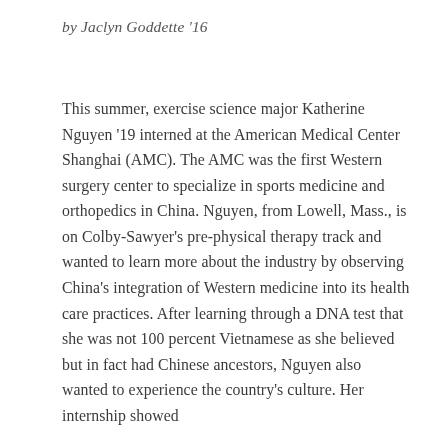by Jaclyn Goddette '16
This summer, exercise science major Katherine Nguyen '19 interned at the American Medical Center Shanghai (AMC). The AMC was the first Western surgery center to specialize in sports medicine and orthopedics in China. Nguyen, from Lowell, Mass., is on Colby-Sawyer's pre-physical therapy track and wanted to learn more about the industry by observing China's integration of Western medicine into its health care practices. After learning through a DNA test that she was not 100 percent Vietnamese as she believed but in fact had Chinese ancestors, Nguyen also wanted to experience the country's culture. Her internship showed